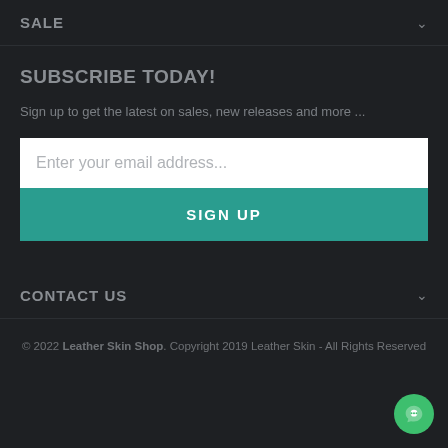SALE
SUBSCRIBE TODAY!
Sign up to get the latest on sales, new releases and more ...
[Figure (screenshot): Email input field with placeholder 'Enter your email address...' and a teal SIGN UP button below]
CONTACT US
© 2022 Leather Skin Shop. Copyright 2019 Leather Skin - All Rights Reserved